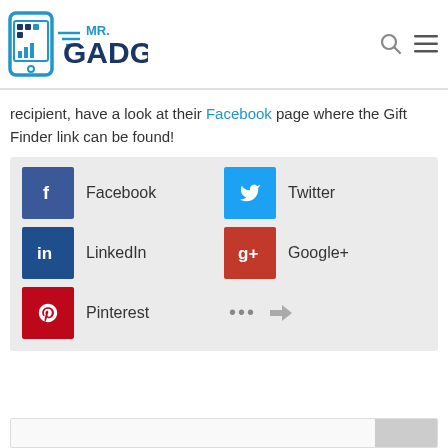Mr. Gadget
recipient, have a look at their Facebook page where the Gift Finder link can be found!
[Figure (infographic): Social share buttons: Facebook, Twitter, LinkedIn, Google+, Pinterest, and more/share icons]
[Figure (infographic): Search bar at the bottom of the page]